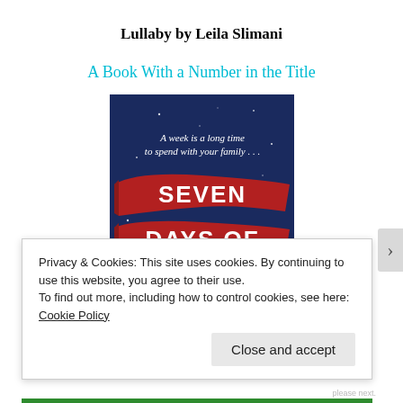Lullaby by Leila Slimani
A Book With a Number in the Title
[Figure (photo): Book cover of 'Seven Days of...' — dark navy background with red ribbon banner showing text 'SEVEN DAYS OF' and tagline 'A week is a long time to spend with your family...']
Privacy & Cookies: This site uses cookies. By continuing to use this website, you agree to their use.
To find out more, including how to control cookies, see here: Cookie Policy
Close and accept